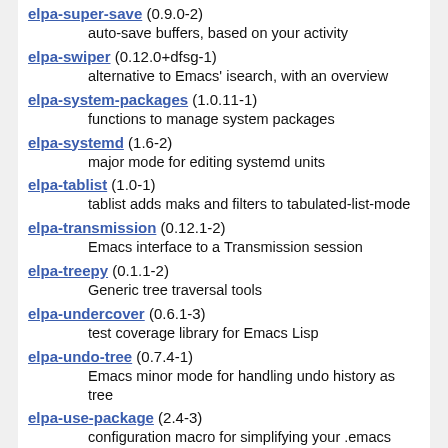elpa-super-save (0.9.0-2)
  auto-save buffers, based on your activity
elpa-swiper (0.12.0+dfsg-1)
  alternative to Emacs' isearch, with an overview
elpa-system-packages (1.0.11-1)
  functions to manage system packages
elpa-systemd (1.6-2)
  major mode for editing systemd units
elpa-tablist (1.0-1)
  tablist adds maks and filters to tabulated-list-mode
elpa-transmission (0.12.1-2)
  Emacs interface to a Transmission session
elpa-treepy (0.1.1-2)
  Generic tree traversal tools
elpa-undercover (0.6.1-3)
  test coverage library for Emacs Lisp
elpa-undo-tree (0.7.4-1)
  Emacs minor mode for handling undo history as tree
elpa-use-package (2.4-3)
  configuration macro for simplifying your .emacs
elpa-use-package-chords (2.4-3)
  key-chord keyword for use-package
elpa-use-package-ensure-system-package (2.4-3)
  autoinstall system packages
elpa-uuid (0.0.3~git20120910.1519bfe-2)